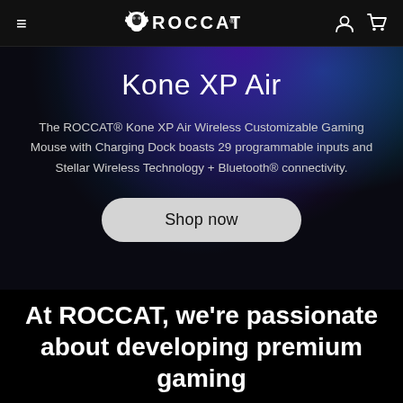ROCCAT navigation bar with hamburger menu, ROCCAT logo, user icon, and cart icon
Kone XP Air
The ROCCAT® Kone XP Air Wireless Customizable Gaming Mouse with Charging Dock boasts 29 programmable inputs and Stellar Wireless Technology + Bluetooth® connectivity.
Shop now
At ROCCAT, we're passionate about developing premium gaming